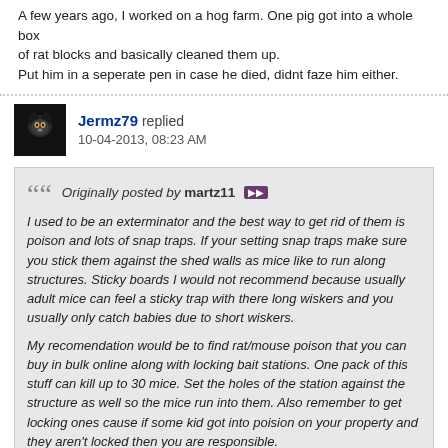A few years ago, I worked on a hog farm. One pig got into a whole box of rat blocks and basically cleaned them up.
Put him in a seperate pen in case he died, didnt faze him either.
[Figure (photo): Small dark avatar image with a stylized animal or character icon on black background]
Jermz79 replied
10-04-2013, 08:23 AM
Originally posted by martz11
I used to be an exterminator and the best way to get rid of them is poison and lots of snap traps. If your setting snap traps make sure you stick them against the shed walls as mice like to run along structures. Sticky boards I would not recommend because usually adult mice can feel a sticky trap with there long wiskers and you usually only catch babies due to short wiskers.

My recomendation would be to find rat/mouse poison that you can buy in bulk online along with locking bait stations. One pack of this stuff can kill up to 30 mice. Set the holes of the station against the structure as well so the mice run into them. Also remember to get locking ones cause if some kid got into poision on your property and they aren't locked then you are responsible.

As far as pets go, plenty have eaten a dead mouse after it's